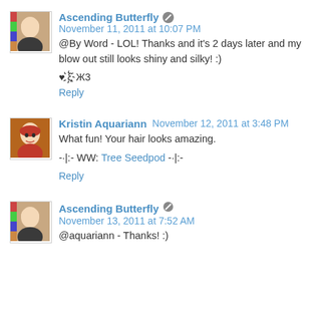Ascending Butterfly · November 11, 2011 at 10:07 PM
@By Word - LOL! Thanks and it's 2 days later and my blow out still looks shiny and silky! :)
♥ ξ҉Ж3
Reply
Kristin Aquariann · November 12, 2011 at 3:48 PM
What fun! Your hair looks amazing.
-·|:- WW: Tree Seedpod -·|:-
Reply
Ascending Butterfly · November 13, 2011 at 7:52 AM
@aquariann - Thanks! :)